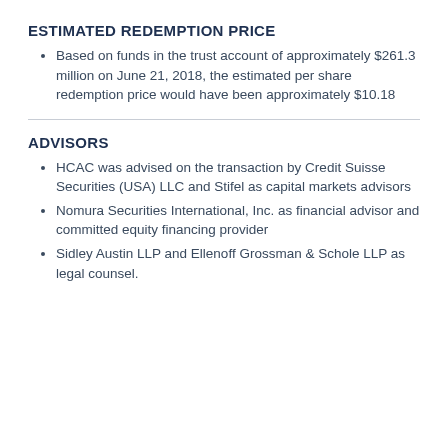ESTIMATED REDEMPTION PRICE
Based on funds in the trust account of approximately $261.3 million on June 21, 2018, the estimated per share redemption price would have been approximately $10.18
ADVISORS
HCAC was advised on the transaction by Credit Suisse Securities (USA) LLC and Stifel as capital markets advisors
Nomura Securities International, Inc. as financial advisor and committed equity financing provider
Sidley Austin LLP and Ellenoff Grossman & Schole LLP as legal counsel.